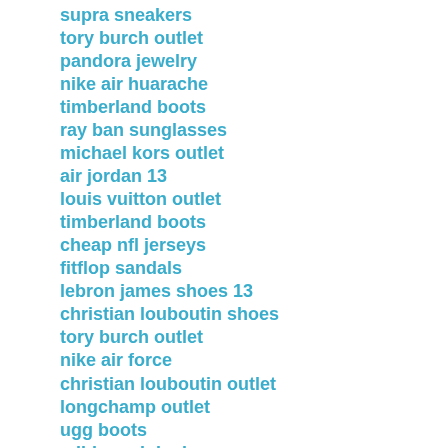supra sneakers
tory burch outlet
pandora jewelry
nike air huarache
timberland boots
ray ban sunglasses
michael kors outlet
air jordan 13
louis vuitton outlet
timberland boots
cheap nfl jerseys
fitflop sandals
lebron james shoes 13
christian louboutin shoes
tory burch outlet
nike air force
christian louboutin outlet
longchamp outlet
ugg boots
adidas originals
cheap jerseys
ray ban sunglasses discount
ray ban